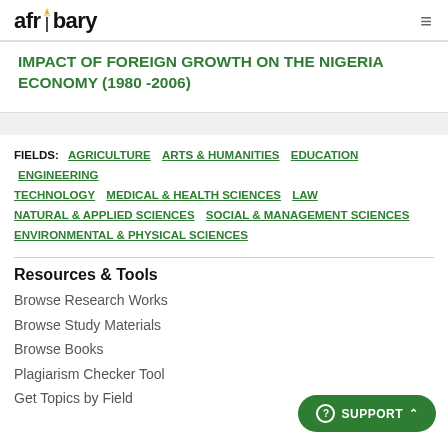afribary [logo] ≡
IMPACT OF FOREIGN GROWTH ON THE NIGERIA ECONOMY (1980 -2006)
FIELDS: AGRICULTURE  ARTS & HUMANITIES  EDUCATION  ENGINEERING TECHNOLOGY  MEDICAL & HEALTH SCIENCES  LAW  NATURAL & APPLIED SCIENCES  SOCIAL & MANAGEMENT SCIENCES  ENVIRONMENTAL & PHYSICAL SCIENCES
Resources & Tools
Browse Research Works
Browse Study Materials
Browse Books
Plagiarism Checker Tool
Get Topics by Field